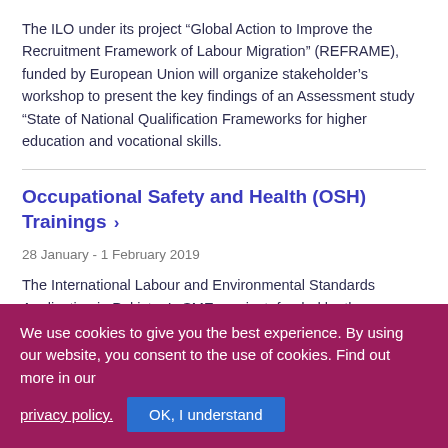The ILO under its project “Global Action to Improve the Recruitment Framework of Labour Migration” (REFRAME), funded by European Union will organize stakeholder’s workshop to present the key findings of an Assessment study “State of National Qualification Frameworks for higher education and vocational skills.
Occupational Safety and Health (OSH) Trainings ›
28 January - 1 February 2019
The International Labour and Environmental Standards Application in Pakistan’s SMEs project, funded by the
We use cookies to give you the best experience. By using our website, you consent to the use of cookies. Find out more in our privacy policy.